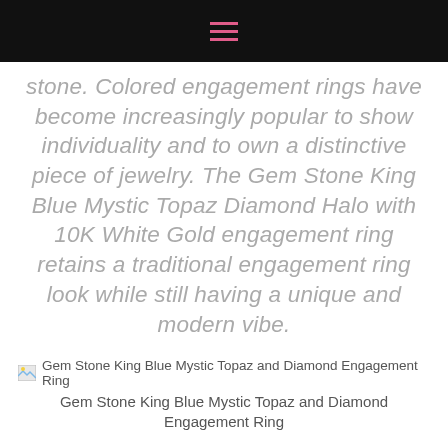☰
stone. Colored engagement rings have become increasingly popular to show individuality and to own a distinctive piece of jewelry. The Gem Stone King Blue Mystic Topaz Diamond Halo with 10K White Gold engagement ring retains a traditional engagement ring look while still having a unique and modern vibe.
[Figure (photo): Small image thumbnail placeholder for Gem Stone King Blue Mystic Topaz and Diamond Engagement Ring]
Gem Stone King Blue Mystic Topaz and Diamond Engagement Ring